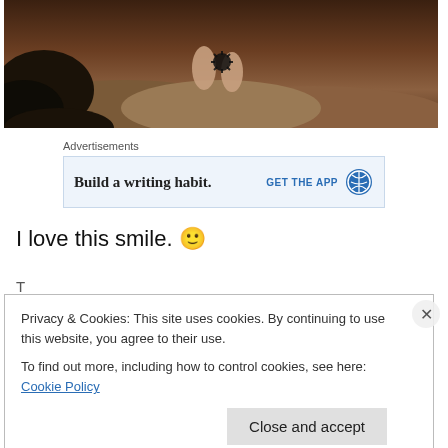[Figure (photo): Partial view of person's feet with a tattoo standing on rocks, dark warm-toned photo]
Advertisements
[Figure (screenshot): Advertisement banner: 'Build a writing habit.' with GET THE APP button and WordPress globe icon]
I love this smile. 🙂
Privacy & Cookies: This site uses cookies. By continuing to use this website, you agree to their use.
To find out more, including how to control cookies, see here: Cookie Policy
Close and accept